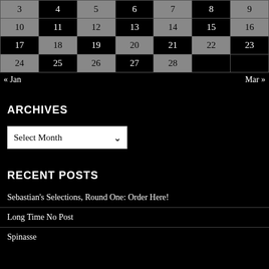| Sun | Mon | Tue | Wed | Thu | Fri | Sat |
| --- | --- | --- | --- | --- | --- | --- |
| 3 | 4 | 5 | 6 | 7 | 8 | 9 |
| 10 | 11 | 12 | 13 | 14 | 15 | 16 |
| 17 | 18 | 19 | 20 | 21 | 22 | 23 |
| 24 | 25 | 26 | 27 | 28 |  |  |
« Jan    Mar »
ARCHIVES
Select Month
RECENT POSTS
Sebastian's Selections, Round One: Order Here!
Long Time No Post
Spinasse